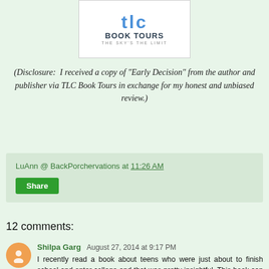[Figure (logo): TLC Book Tours logo with tagline 'THE SKY'S THE LIMIT']
(Disclosure:  I received a copy of "Early Decision" from the author and publisher via TLC Book Tours in exchange for my honest and unbiased review.)
LuAnn @ BackPorchervations at 11:26 AM
Share
12 comments:
Shilpa Garg  August 27, 2014 at 9:17 PM
I recently read a book about teens who were just about to finish school and enter college and that was pretty insightful. This book can be a perfect continuation to the one that I read and can